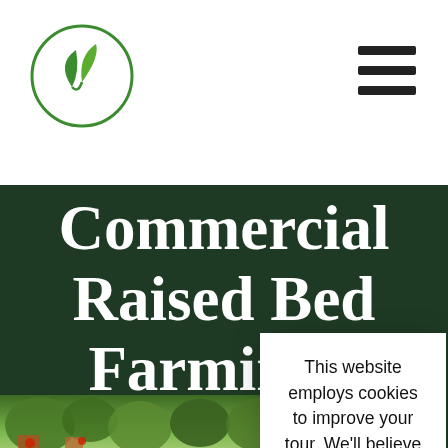[Figure (logo): Green circular logo with two leaf shapes inside]
[Figure (other): Hamburger/menu icon with three horizontal dark bars]
Commercial Raised Bed Farming - Sabingrik
Farmer
[Figure (photo): Garden photo showing raised beds with green plants and vegetables]
This website employs cookies to improve your tour. We'll believe you're ok with this, but you can opt-out if you wish. Cookie settings
CONTINUE